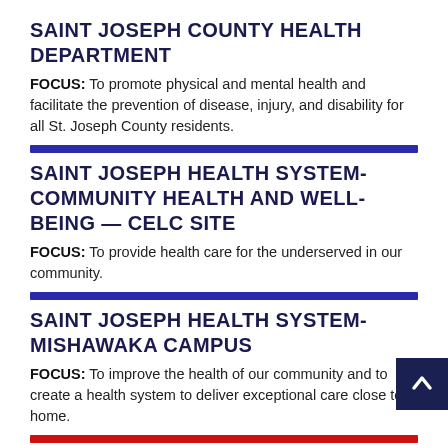SAINT JOSEPH COUNTY HEALTH DEPARTMENT
FOCUS: To promote physical and mental health and facilitate the prevention of disease, injury, and disability for all St. Joseph County residents.
SAINT JOSEPH HEALTH SYSTEM-COMMUNITY HEALTH AND WELL-BEING — CELC SITE
FOCUS: To provide health care for the underserved in our community.
SAINT JOSEPH HEALTH SYSTEM-MISHAWAKA CAMPUS
FOCUS: To improve the health of our community and to create a health system to deliver exceptional care close to home.
SANCTUARY HOLY CROSS
FOCUS: To care for the mind, body, and spirit of those entrusted to our care as they age and are unable to remain in their homes.
SANT'EGIDIO COMMUNITY